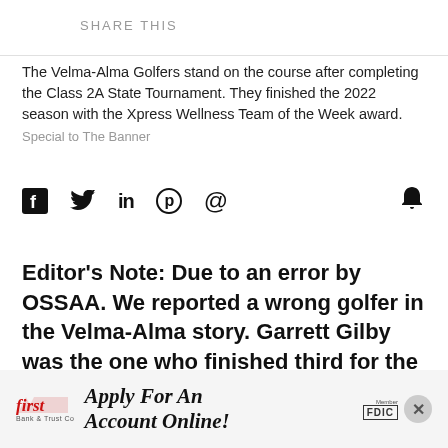SHARE THIS
The Velma-Alma Golfers stand on the course after completing the Class 2A State Tournament. They finished the 2022 season with the Xpress Wellness Team of the Week award.
Special to The Banner
[Figure (other): Social media sharing icons: Facebook, Twitter, LinkedIn, Pinterest, Email, and a bell notification icon]
Editor's Note: Due to an error by OSSAA. We reported a wrong golfer in the Velma-Alma story. Garrett Gilby was the one who finished third for the Comets instead of Cameron Wiggins. The Banner apologizes for the error and is happy to set the record straight.
[Figure (other): Advertisement for First Bank & Trust Co: Apply For An Account Online! with Member FDIC logo and close button]